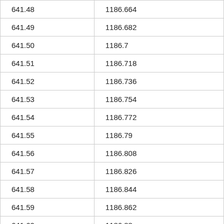| 641.48 | 1186.664 |
| 641.49 | 1186.682 |
| 641.50 | 1186.7 |
| 641.51 | 1186.718 |
| 641.52 | 1186.736 |
| 641.53 | 1186.754 |
| 641.54 | 1186.772 |
| 641.55 | 1186.79 |
| 641.56 | 1186.808 |
| 641.57 | 1186.826 |
| 641.58 | 1186.844 |
| 641.59 | 1186.862 |
| 641.60 | 1186.88 |
| 641.61 | 1186.898 |
| 641.62 | 1186.916 |